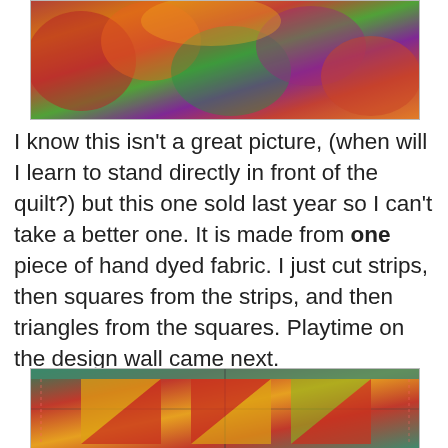[Figure (photo): A colorful hand-dyed quilt with rich reds, oranges, greens, and purples, photographed at a slight angle.]
I know this isn't a great picture, (when will I learn to stand directly in front of the quilt?) but this one sold last year so I can't take a better one. It is made from one piece of hand dyed fabric. I just cut strips, then squares from the strips, and then triangles from the squares. Playtime on the design wall came next.
[Figure (photo): A close-up of a colorful quilt showing geometric triangle and square patches in reds, yellows, oranges, and greens on a teal border, with visible quilting stitches.]